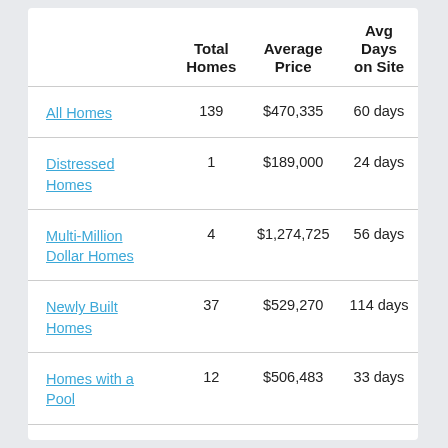|  | Total Homes | Average Price | Avg Days on Site |
| --- | --- | --- | --- |
| All Homes | 139 | $470,335 | 60 days |
| Distressed Homes | 1 | $189,000 | 24 days |
| Multi-Million Dollar Homes | 4 | $1,274,725 | 56 days |
| Newly Built Homes | 37 | $529,270 | 114 days |
| Homes with a Pool | 12 | $506,483 | 33 days |
| Reduced Price Homes | 12 | $616,025 | 77 days |